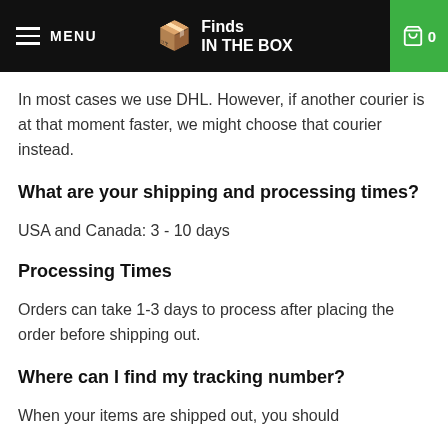MENU | Finds IN THE BOX | 0
In most cases we use DHL. However, if another courier is at that moment faster, we might choose that courier instead.
What are your shipping and processing times?
USA and Canada: 3 - 10 days
Processing Times
Orders can take 1-3 days to process after placing the order before shipping out.
Where can I find my tracking number?
When your items are shipped out, you should